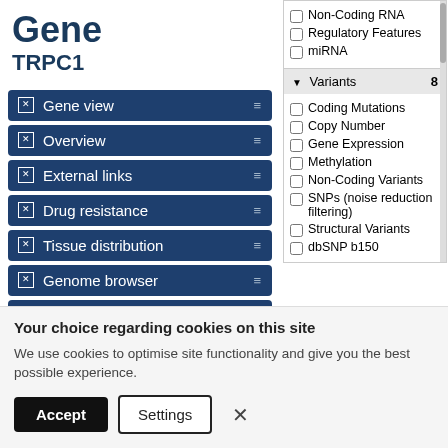Gene
TRPC1
Gene view
Overview
External links
Drug resistance
Tissue distribution
Genome browser
Mutation distribution
[Figure (screenshot): Side panel with checkboxes: Non-Coding RNA, Regulatory Features, miRNA; Variants section (count: 8) with checkboxes: Coding Mutations, Copy Number, Gene Expression, Methylation, Non-Coding Variants, SNPs (noise reduction filtering), Structural Variants, dbSNP b150]
Your choice regarding cookies on this site
We use cookies to optimise site functionality and give you the best possible experience.
Accept   Settings   ×